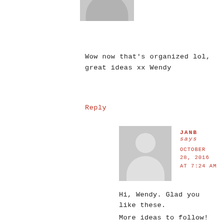[Figure (illustration): Partial grey avatar silhouette cropped at top of page]
Wow now that's organized lol, great ideas xx Wendy
Reply
[Figure (illustration): Grey avatar placeholder with circular head and rounded body for commenter JANB]
JANB says OCTOBER 28, 2016 AT 7:24 AM
Hi, Wendy. Glad you like these. More ideas to follow! LOL! 😊 Happy crafting, JanB.